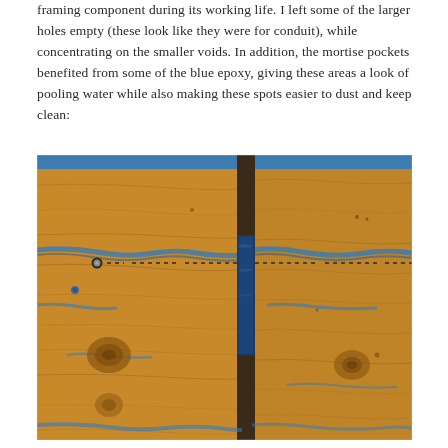framing component during its working life. I left some of the larger holes empty (these look like they were for conduit), while concentrating on the smaller voids. In addition, the mortise pockets benefited from some of the blue epoxy, giving these areas a look of pooling water while also making these spots easier to dust and keep clean:
[Figure (photo): Close-up photograph of a wooden surface (reclaimed lumber) with blue epoxy resin filling the cracks, voids, and a mortise pocket channel. The wood shows natural grain and knots. A horizontal dashed line of small holes is visible, and a vertical dark channel/mortise runs down the center filled with blue epoxy resin pooling at the bottom.]